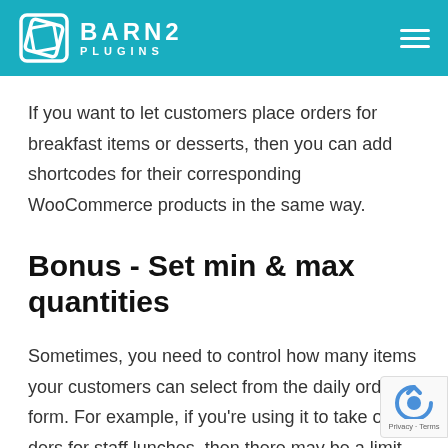BARN2 PLUGINS
If you want to let customers place orders for breakfast items or desserts, then you can add shortcodes for their corresponding WooCommerce products in the same way.
Bonus - Set min & max quantities
Sometimes, you need to control how many items your customers can select from the daily order form. For example, if you're using it to take orders for staff lunches, then there may be a limit to